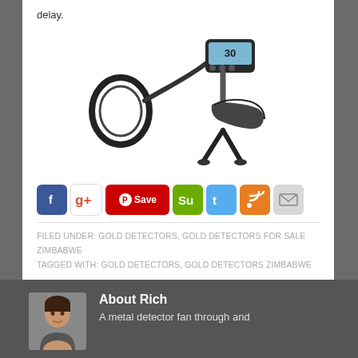delay.
[Figure (photo): A metal detector with circular search coil, flexible handle, control box with display showing '30', and arm rest/stand, shown against white background]
[Figure (infographic): Social sharing buttons: Facebook, Google+, Pinterest Save, StumbleUpon, Twitter, RSS, Email]
FILED UNDER: GOLD DETECTORS, GOLD DETECTORS FOR SALE ZIMBABWE
TAGGED WITH: GOLD DETECTORS, GOLD DETECTORS ZIMBABWE
About Rich
A metal detector fan through and